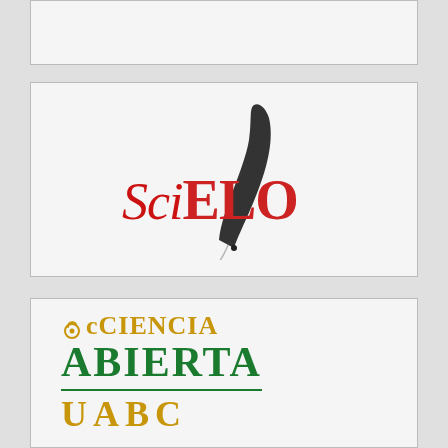[Figure (logo): Partially visible logo box at top (content cropped)]
[Figure (logo): SciELO logo: italic red 'Sci' and bold red 'ELO' text with a black needle/orbit arc graphic]
[Figure (logo): Ciencia Abierta UABC logo: open-access padlock icon with 'CIENCIA' in gold, 'ABIERTA' in large green bold, horizontal green rule, and 'UABC' in gold bold]